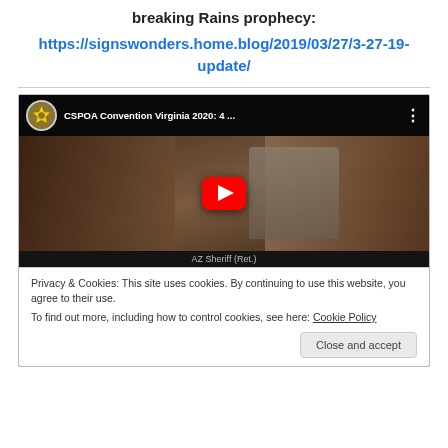breaking Rains prophecy:
https://signswonders.home.blog/2019/03/27/3-27-19-update/
[Figure (screenshot): Embedded YouTube video thumbnail showing 'CSPOA Convention Virginia 2020: 4 ...' with a man speaking at a podium, a play button overlay, and a CSPOA sheriff badge logo in the top left.]
Privacy & Cookies: This site uses cookies. By continuing to use this website, you agree to their use.
To find out more, including how to control cookies, see here: Cookie Policy
Close and accept